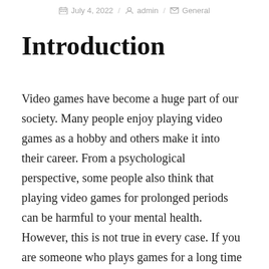July 4, 2022 / admin / General
Introduction
Video games have become a huge part of our society. Many people enjoy playing video games as a hobby and others make it into their career. From a psychological perspective, some people also think that playing video games for prolonged periods can be harmful to your mental health. However, this is not true in every case. If you are someone who plays games for a long time but does not feel any negative effects then it is definitely not harmful to